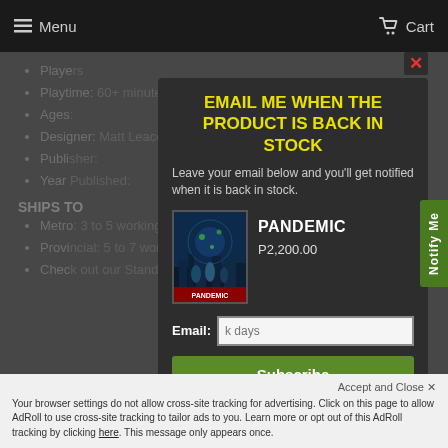Menu   Cart
Players...
Playtime: 60+ minutes
Ages...
Designer: Matt Leacock
Publisher...
Year Published...
SHIPS TO
Metro... 3 to 5 working days
Provincial: 5 to 7 working days
Check out our Standard Shipping P...
EMAIL ME WHEN THE PRODUCT IS BACK IN STOCK
Leave your email below and you'll get notified when it is back in stock.
[Figure (illustration): Pandemic board game box cover showing characters]
PANDEMIC
P2,200.00
Email:
Subscribe
Accept and Close ✕
Your browser settings do not allow cross-site tracking for advertising. Click on this page to allow AdRoll to use cross-site tracking to tailor ads to you. Learn more or opt out of this AdRoll tracking by clicking here. This message only appears once.